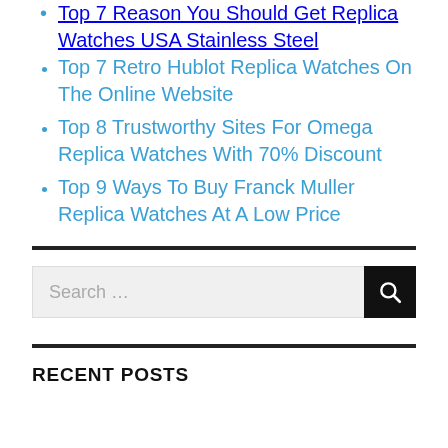Top 7 Reason You Should Get Replica Watches USA Stainless Steel
Top 7 Retro Hublot Replica Watches On The Online Website
Top 8 Trustworthy Sites For Omega Replica Watches With 70% Discount
Top 9 Ways To Buy Franck Muller Replica Watches At A Low Price
Search ...
RECENT POSTS